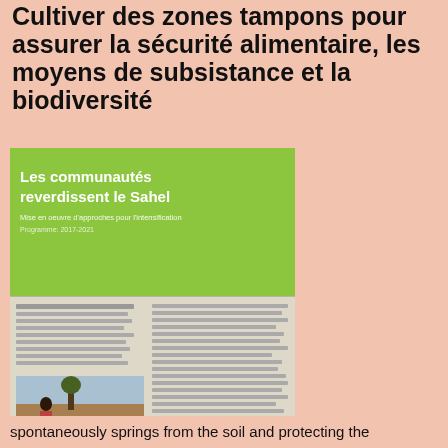Cultiver des zones tampons pour assurer la sécurité alimentaire, les moyens de subsistance et la biodiversité
[Figure (illustration): Thumbnail image of a publication cover titled 'Les communautés reverdissent le Sahel' with green and white text and a photo of a person working in a dry landscape]
[Figure (other): DOWNLOAD button in red with white bold text]
This website uses cookies to ensure you get the best experience on our website.
Learn more
Decline
Allow cookies
spontaneously springs from the soil and protecting the